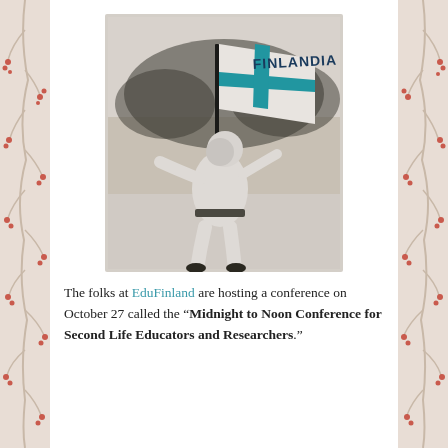[Figure (photo): Black and white photograph of a person in white winter clothing holding a flag that reads 'FINLANDIA' with a blue cross on a white background (Finnish flag colors). The person is standing in a dynamic pose outdoors.]
The folks at EduFinland are hosting a conference on October 27 called the "Midnight to Noon Conference for Second Life Educators and Researchers."